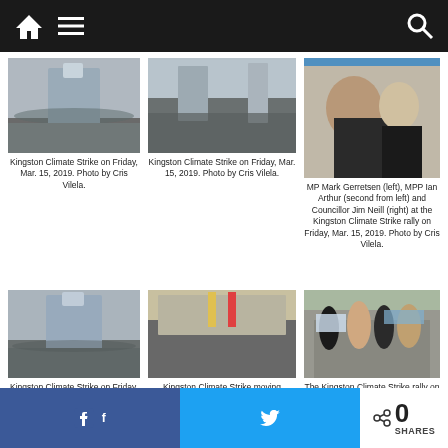Navigation bar with home, menu, and search icons
[Figure (photo): Crowd scene at Kingston Climate Strike, outdoor winter setting with government building]
Kingston Climate Strike on Friday, Mar. 15, 2019. Photo by Cris Vilela.
[Figure (photo): Crowd marching at Kingston Climate Strike, city street with tall buildings]
Kingston Climate Strike on Friday, Mar. 15, 2019. Photo by Cris Vilela.
[Figure (photo): MP Mark Gerretsen, MPP Ian Arthur, and Councillor Jim Neill at the Kingston Climate Strike rally]
MP Mark Gerretsen (left), MPP Ian Arthur (second from left) and Councillor Jim Neill (right) at the Kingston Climate Strike rally on Friday, Mar. 15, 2019. Photo by Cris Vilela.
[Figure (photo): Kingston Climate Strike crowd near government building]
Kingston Climate Strike on Friday, Mar.
[Figure (photo): Kingston Climate Strike march moving through city street]
Kingston Climate Strike moving
[Figure (photo): Young people holding signs at the Kingston Climate Strike rally]
The Kingston Climate Strike rally on